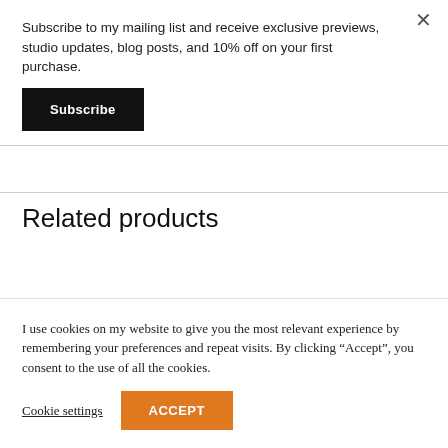Subscribe to my mailing list and receive exclusive previews, studio updates, blog posts, and 10% off on your first purchase.
Subscribe
Related products
[Figure (photo): A close-up photo of green foliage/leaves, likely a plant or shrub, partially visible at the bottom of the page.]
I use cookies on my website to give you the most relevant experience by remembering your preferences and repeat visits. By clicking “Accept”, you consent to the use of all the cookies.
Cookie settings
ACCEPT